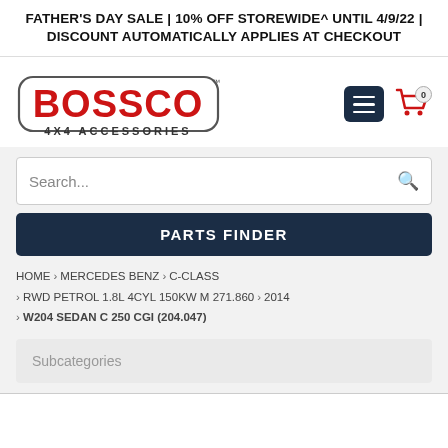FATHER'S DAY SALE | 10% OFF STOREWIDE^ UNTIL 4/9/22 | DISCOUNT AUTOMATICALLY APPLIES AT CHECKOUT
[Figure (logo): Bossco 4x4 Accessories logo with red BOSSCO text and cart/menu icons]
Search...
PARTS FINDER
HOME › MERCEDES BENZ › C-CLASS › RWD PETROL 1.8L 4CYL 150KW M 271.860 › 2014 › W204 SEDAN C 250 CGI (204.047)
Subcategories